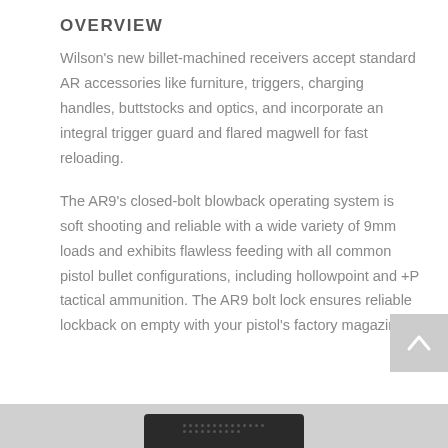OVERVIEW
Wilson’s new billet-machined receivers accept standard AR accessories like furniture, triggers, charging handles, buttstocks and optics, and incorporate an integral trigger guard and flared magwell for fast reloading.
The AR9’s closed-bolt blowback operating system is soft shooting and reliable with a wide variety of 9mm loads and exhibits flawless feeding with all common pistol bullet configurations, including hollowpoint and +P tactical ammunition. The AR9 bolt lock ensures reliable lockback on empty with your pistol’s factory magazines.
[Figure (other): Back-to-top arrow button (gray square with upward chevron icon)]
[Figure (other): Bottom strip showing dark object (firearm component) at bottom of page]